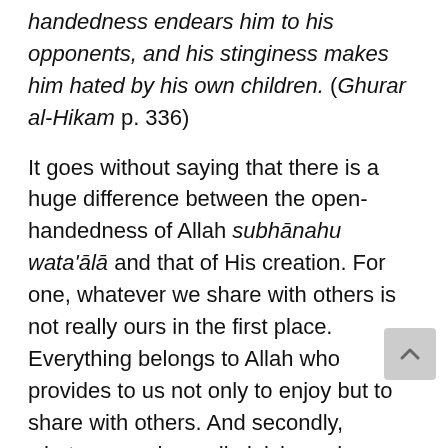handedness endears him to his opponents, and his stinginess makes him hated by his own children. (Ghurar al-Hikam p. 336)
It goes without saying that there is a huge difference between the open-handedness of Allah subhānahu wata'ālā and that of His creation. For one, whatever we share with others is not really ours in the first place. Everything belongs to Allah who provides to us not only to enjoy but to share with others. And secondly, whatever we have diminishes when we use it but whatever is with Allah remains forever. Allah says: That which is with you will be spent but what is with Allah shall last (Q: 16:96).
In the verse above Allah beautifully